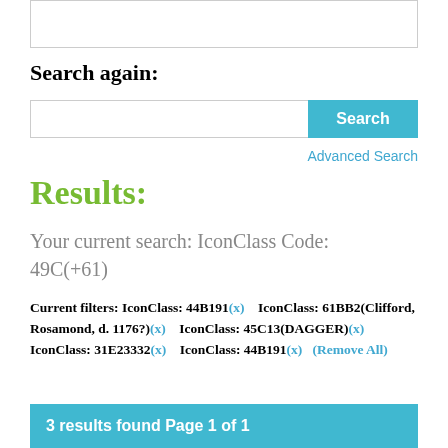[Figure (screenshot): Top search box UI element (partial)]
Search again:
[Figure (screenshot): Search input bar with Search button]
Advanced Search
Results:
Your current search: IconClass Code: 49C(+61)
Current filters: IconClass: 44B191(x)    IconClass: 61BB2(Clifford, Rosamond, d. 1176?)(x)    IconClass: 45C13(DAGGER)(x)    IconClass: 31E23332(x)    IconClass: 44B191(x)    (Remove All)
3 results found Page 1 of 1